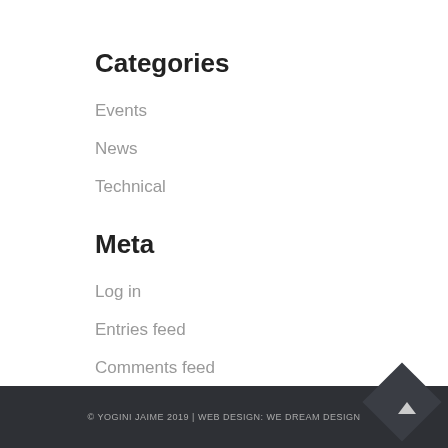Categories
Events
News
Technical
Meta
Log in
Entries feed
Comments feed
WordPress.org
© YOGINI JAIME 2019 | WEB DESIGN: WE DREAM DESIGN